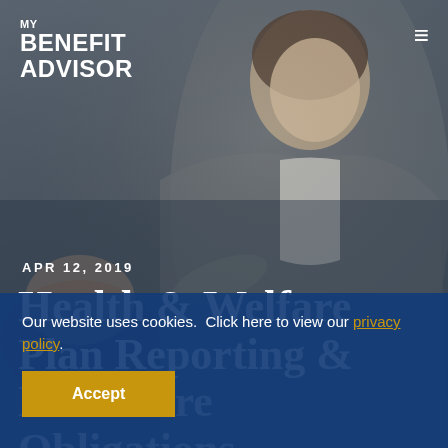[Figure (photo): Background photo of a professional woman in a business suit leaning over, appearing to advise or review documents with another person. Dark muted tones.]
MY BENEFIT ADVISOR
APR 12, 2019
Health & Welfare Plan Reporting & Disclosure Obligations
Our website uses cookies.  Click here to view our privacy policy.
Accept